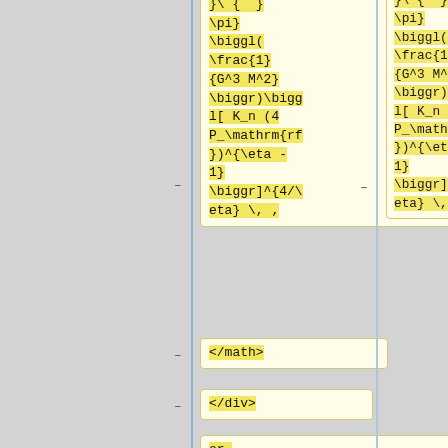}\ {  }
\pi}
\biggl(
\frac{1}
{G^3 M^2}
\biggr)\biggl[ K_n (4
P_\mathrm{rf
})^{\eta -
1}
\biggr]^{4/\eta} \, ,
</math>
</div>
or,
gathering
all factors
of
<math>P_\mathrm{rf}
hrm{rf}